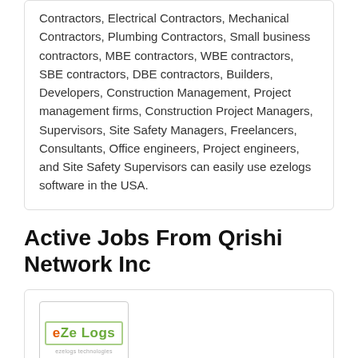Contractors, Electrical Contractors, Mechanical Contractors, Plumbing Contractors, Small business contractors, MBE contractors, WBE contractors, SBE contractors, DBE contractors, Builders, Developers, Construction Management, Project management firms, Construction Project Managers, Supervisors, Site Safety Managers, Freelancers, Consultants, Office engineers, Project engineers, and Site Safety Supervisors can easily use ezelogs software in the USA.
Active Jobs From Qrishi Network Inc
[Figure (logo): eZe Logs company logo — green text with orange E, inside a rounded rectangle border, with small tagline text below]
Project Manager